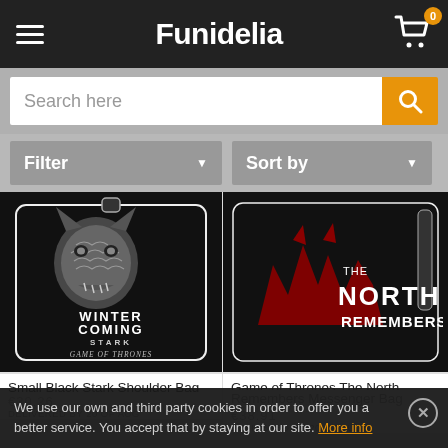Funidelia
Search here
Filter
Sort by
[Figure (photo): Small Black Stark Shoulder Bag - black bag with Stark direwolf sigil and 'WINTER IS COMING STARK GAME OF THRONES' text]
Small Black Stark Shoulder Bag
[Figure (photo): Game of Thrones The North Remembers Messenger Bag - black bag with red Stark direwolf and 'THE NORTH REMEMBERS' text]
Game of Thrones The North
Remembers Messenger Bag
We use our own and third party cookies in order to offer you a better service. You accept that by staying at our site. More info